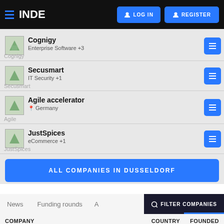INDE | LOG IN | REGISTER
Cognigy — Enterprise Software +3
Secusmart — IT Security +1
Agile accelerator — Germany
JustSpices — eCommerce +1
ALL COMPANIES IN DUSSELDORF
News | Funding rounds | A... | FILTER COMPANIES
COMPANY | COUNTRY | FOUNDED
Henkel — Germany — 1876